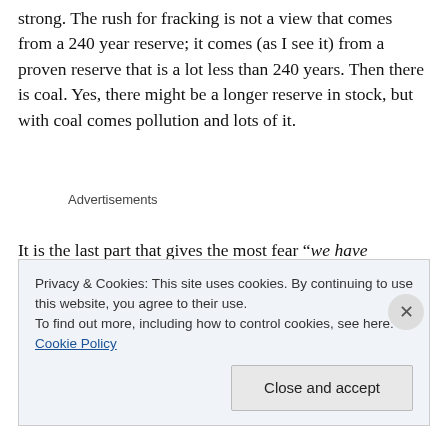strong. The rush for fracking is not a view that comes from a 240 year reserve; it comes (as I see it) from a proven reserve that is a lot less than 240 years. Then there is coal. Yes, there might be a longer reserve in stock, but with coal comes pollution and lots of it.
Advertisements
It is the last part that gives the most fear “we have thousands of years of proven Uranium reserves and we are running out of water today”. It is all about the water
Privacy & Cookies: This site uses cookies. By continuing to use this website, you agree to their use.
To find out more, including how to control cookies, see here: Cookie Policy